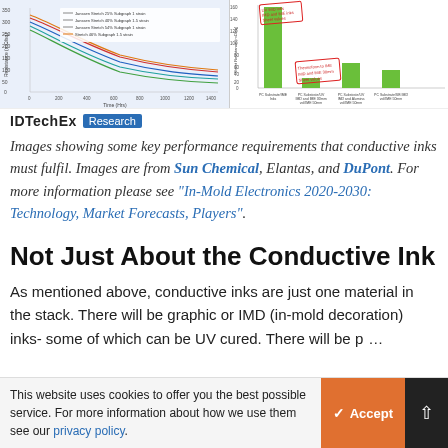[Figure (continuous-plot): Two scientific charts side by side at top of page. Left: line chart showing resistance (mΩ/sq) vs Time (hrs) with multiple colored curves decreasing over time. Right: bar chart showing sheet resistance values for different PC substrate/IMD conditions, with green bars and red diagonal annotation labels.]
[Figure (logo): IDTechEx Research logo — bold IDTechEx text with blue 'Research' badge]
Images showing some key performance requirements that conductive inks must fulfil. Images are from Sun Chemical, Elantas, and DuPont. For more information please see "In-Mold Electronics 2020-2030: Technology, Market Forecasts, Players".
Not Just About the Conductive Ink
As mentioned above, conductive inks are just one material in the stack. There will be graphic or IMD (in-mold decoration) inks- some of which can be UV cured. There will be pride and dielectric inks. The
This website uses cookies to offer you the best possible service. For more information about how we use them see our privacy policy.